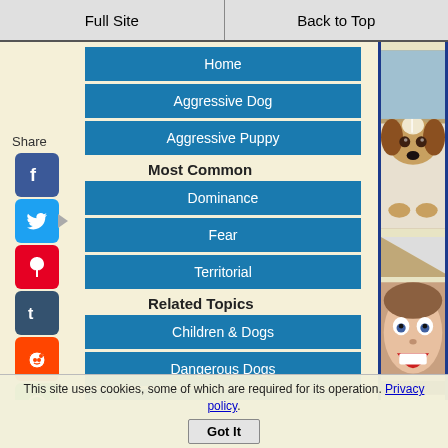Full Site
Back to Top
Home
Aggressive Dog
Aggressive Puppy
Most Common
Dominance
Fear
Territorial
Related Topics
Children & Dogs
Dangerous Dogs
Guest Articles
Solutions
[Figure (photo): A beagle puppy lying down looking at camera]
[Figure (photo): A woman with wide eyes and open mouth, surprised expression]
This site uses cookies, some of which are required for its operation. Privacy policy.
Got It